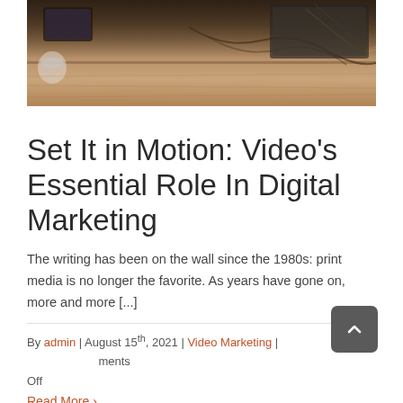[Figure (photo): A desk surface photographed from above, showing a wooden desk with devices, cables, and a coffee cup in warm brown tones.]
Set It in Motion: Video’s Essential Role In Digital Marketing
The writing has been on the wall since the 1980s: print media is no longer the favorite. As years have gone on, more and more [...]
By admin | August 15th, 2021 | Video Marketing | Comments Off
Read More >